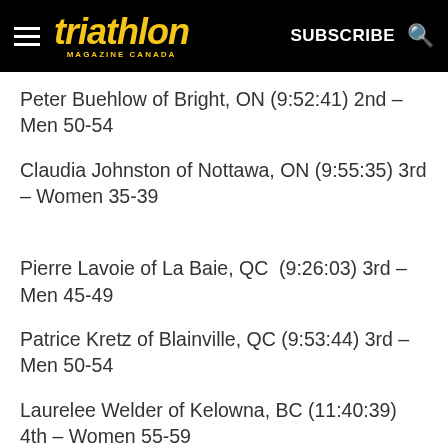triathlon MAGAZINE CANADA | SUBSCRIBE
Peter Buehlow of Bright, ON (9:52:41) 2nd – Men 50-54
Claudia Johnston of Nottawa, ON (9:55:35) 3rd – Women 35-39
Pierre Lavoie of La Baie, QC  (9:26:03) 3rd – Men 45-49
Patrice Kretz of Blainville, QC (9:53:44) 3rd – Men 50-54
Laurelee Welder of Kelowna, BC (11:40:39) 4th – Women 55-59